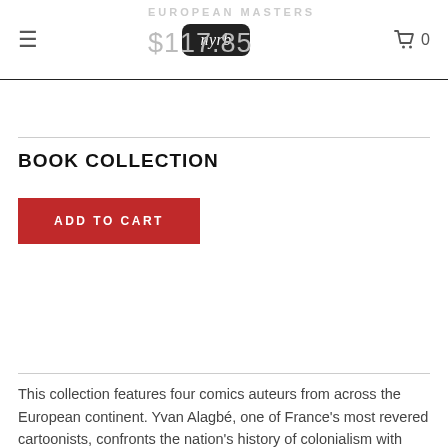EUROPEAN MASTERS  nyrb  0
$117.85
BOOK COLLECTION
ADD TO CART
This collection features four comics auteurs from across the European continent. Yvan Alagbé, one of France's most revered cartoonists, confronts the nation's history of colonialism with power and grace. Yellow Negroes and Other Imaginary Creatures includes short stories drawn over the course of two decades, each exploring issues of race, immigration, and love with elegant, innovative brushwork. Christian Hincker, better known as Blutch, is another French